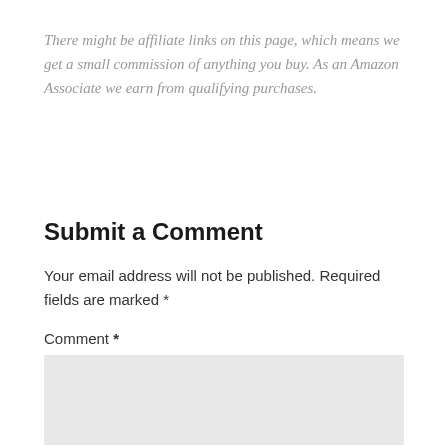There might be affiliate links on this page, which means we get a small commission of anything you buy. As an Amazon Associate we earn from qualifying purchases.
Submit a Comment
Your email address will not be published. Required fields are marked *
Comment *